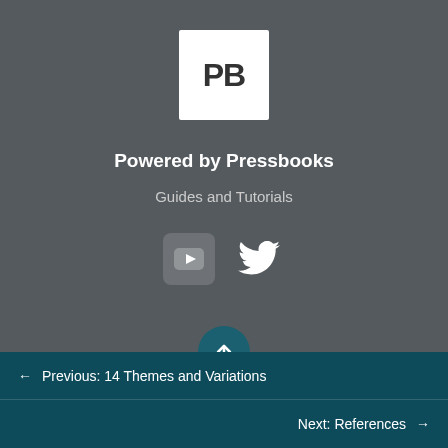[Figure (logo): Pressbooks logo: white square with bold dark text 'PB']
Powered by Pressbooks
Guides and Tutorials
[Figure (infographic): YouTube and Twitter social media icons in rounded rectangle buttons]
[Figure (infographic): Teal circular back-to-top button with upward arrow]
← Previous: 14 Themes and Variations
Next: References →